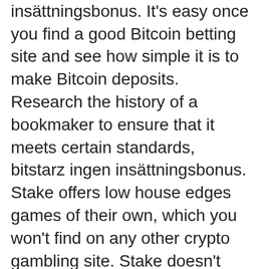Bitcoin, bitstarz ingen insättningsbonus. It's easy once you find a good Bitcoin betting site and see how simple it is to make Bitcoin deposits.
Research the history of a bookmaker to ensure that it meets certain standards, bitstarz ingen insättningsbonus.
Stake offers low house edges games of their own, which you won't find on any other crypto gambling site. Stake doesn't offer a welcome bonus at this time, bitstarz ingen insättningsbonus. They stay away from bonus hunters and favor regular players through their VIP program and promotions.
This crypto sports gambling site is unavailable from the US, Australia, and the Czech Republic. Sports Available? Alpine Skiing, American Football, Aussie Rules, Bandy, Baseball, Basketball, Biathlon, Boxing, Counter-Strike, Cricket, Cross-Country, Cycling, Darts, Dota 2, Electronic Leagues, Floorball, Formula 1, Gaelic